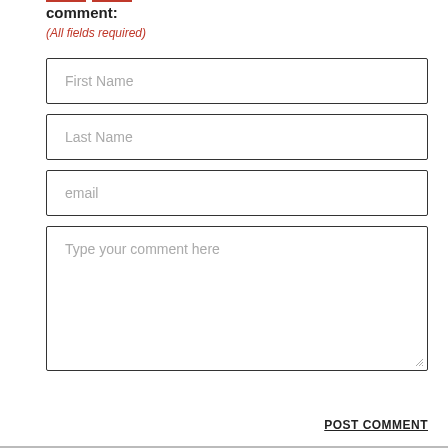comment:
(All fields required)
First Name
Last Name
email
Type your comment here
POST COMMENT